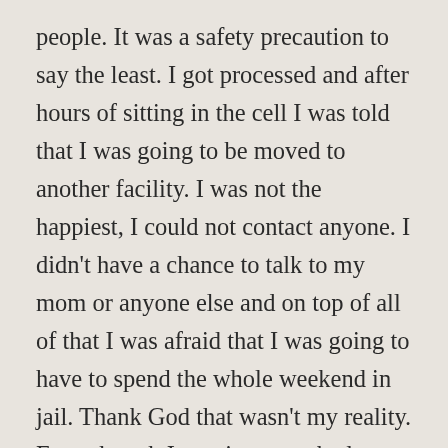people. It was a safety precaution to say the least. I got processed and after hours of sitting in the cell I was told that I was going to be moved to another facility. I was not the happiest, I could not contact anyone. I didn't have a chance to talk to my mom or anyone else and on top of all of that I was afraid that I was going to have to spend the whole weekend in jail. Thank God that wasn't my reality. Even though I was in a very bad predicament I met some pretty good people along the way. I was treated very kind while I was in jail. I got brand new clothes and I room to myself. They locked the entire jail down when I arrived there so no inmates could see my face. The room that I had